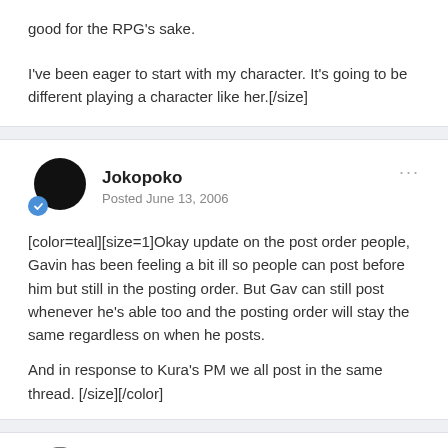good for the RPG's sake.

I've been eager to start with my character. It's going to be different playing a character like her.[/size]
Jokopoko
Posted June 13, 2006
[color=teal][size=1]Okay update on the post order people, Gavin has been feeling a bit ill so people can post before him but still in the posting order. But Gav can still post whenever he's able too and the posting order will stay the same regardless on when he posts.

And in response to Kura's PM we all post in the same thread.[/size][/color]
Redemption